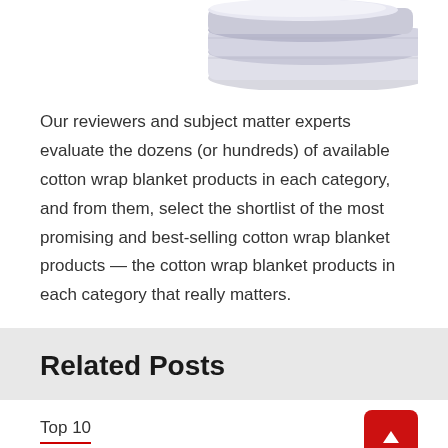[Figure (photo): Partial view of folded cotton wrap blanket, white/light gray, shown at top right of page, cropped]
Our reviewers and subject matter experts evaluate the dozens (or hundreds) of available cotton wrap blanket products in each category, and from them, select the shortlist of the most promising and best-selling cotton wrap blanket products — the cotton wrap blanket products in each category that really matters.
Related Posts
Top 10
Select adult lunch box perfect Products